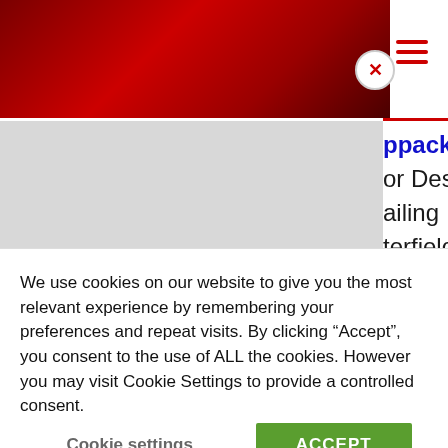[Figure (screenshot): Top red diagonal banner image in website header, partially obscured]
ppackages/ or by contacting or Destination Chesterfield ailing terfield.co.uk or calling 01246
[Figure (screenshot): Red banner section with italic white text reading 'ility']
We use cookies on our website to give you the most relevant experience by remembering your preferences and repeat visits. By clicking “Accept”, you consent to the use of ALL the cookies. However you may visit Cookie Settings to provide a controlled consent.
Cookie settings
ACCEPT